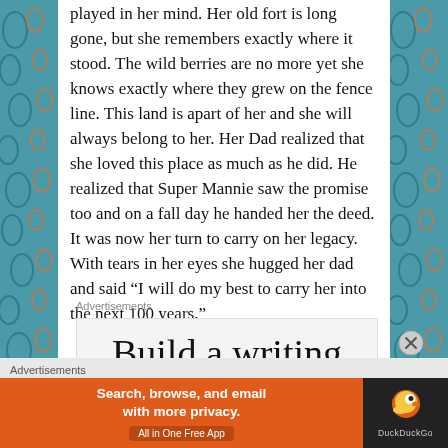played in her mind. Her old fort is long gone, but she remembers exactly where it stood. The wild berries are no more yet she knows exactly where they grew on the fence line. This land is apart of her and she will always belong to her. Her Dad realized that she loved this place as much as he did. He realized that Super Mannie saw the promise too and on a fall day he handed her the deed. It was now her turn to carry on her legacy. With tears in her eyes she hugged her dad and said “I will do my best to carry her into the next 100 years.”
Advertisements
[Figure (other): Advertisement: Build a writing habit. Post on Medium.]
Advertisements
[Figure (other): DuckDuckGo advertisement: Search, browse, and email with more privacy. All in One Free App]